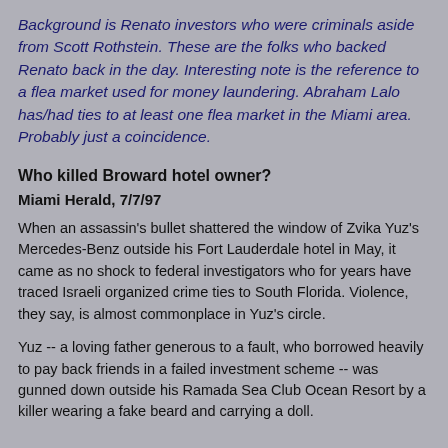Background is Renato investors who were criminals aside from Scott Rothstein. These are the folks who backed Renato back in the day. Interesting note is the reference to a flea market used for money laundering. Abraham Lalo has/had ties to at least one flea market in the Miami area. Probably just a coincidence.
Who killed Broward hotel owner?
Miami Herald, 7/7/97
When an assassin's bullet shattered the window of Zvika Yuz's Mercedes-Benz outside his Fort Lauderdale hotel in May, it came as no shock to federal investigators who for years have traced Israeli organized crime ties to South Florida. Violence, they say, is almost commonplace in Yuz's circle.
Yuz -- a loving father generous to a fault, who borrowed heavily to pay back friends in a failed investment scheme -- was gunned down outside his Ramada Sea Club Ocean Resort by a killer wearing a fake beard and carrying a doll.